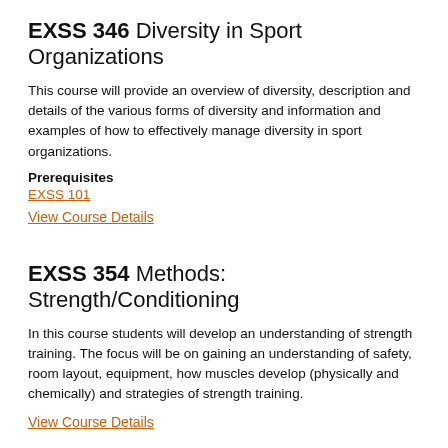EXSS 346 Diversity in Sport Organizations
This course will provide an overview of diversity, description and details of the various forms of diversity and information and examples of how to effectively manage diversity in sport organizations.
Prerequisites
EXSS 101
View Course Details
EXSS 354 Methods: Strength/Conditioning
In this course students will develop an understanding of strength training. The focus will be on gaining an understanding of safety, room layout, equipment, how muscles develop (physically and chemically) and strategies of strength training.
View Course Details
EXSS 360 Motor Learning
An examination of factors that affect the acquisition and performance of motor skills. Topics include perception,